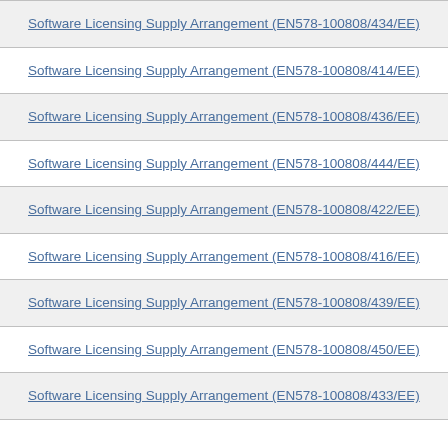Software Licensing Supply Arrangement (EN578-100808/434/EE)
Software Licensing Supply Arrangement (EN578-100808/414/EE)
Software Licensing Supply Arrangement (EN578-100808/436/EE)
Software Licensing Supply Arrangement (EN578-100808/444/EE)
Software Licensing Supply Arrangement (EN578-100808/422/EE)
Software Licensing Supply Arrangement (EN578-100808/416/EE)
Software Licensing Supply Arrangement (EN578-100808/439/EE)
Software Licensing Supply Arrangement (EN578-100808/450/EE)
Software Licensing Supply Arrangement (EN578-100808/433/EE)